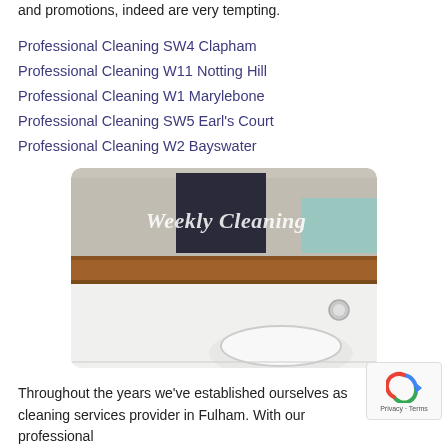and promotions, indeed are very tempting.
Professional Cleaning SW4 Clapham
Professional Cleaning W11 Notting Hill
Professional Cleaning W1 Marylebone
Professional Cleaning SW5 Earl's Court
Professional Cleaning W2 Bayswater
[Figure (photo): Bathroom photo with wooden shelf/counter and toilet visible in mirror reflection. Watermark text 'Weekly Cleaning' overlaid in white cursive font. Person taking selfie in mirror visible in top portion.]
Throughout the years we've established ourselves as cleaning services provider in Fulham. With our professional